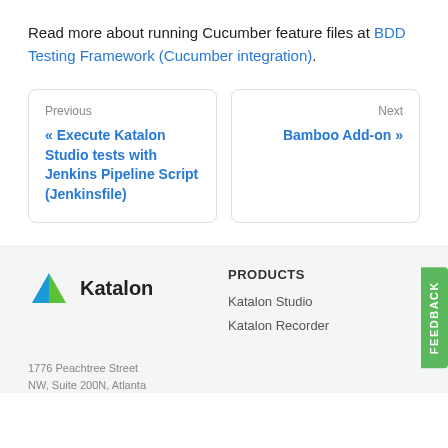Read more about running Cucumber feature files at BDD Testing Framework (Cucumber integration).
Previous
« Execute Katalon Studio tests with Jenkins Pipeline Script (Jenkinsfile)
Next
Bamboo Add-on »
[Figure (logo): Katalon logo with K icon and Katalon text]
PRODUCTS
Katalon Studio
Katalon Recorder
1776 Peachtree Street NW, Suite 200N, Atlanta
FEEDBACK